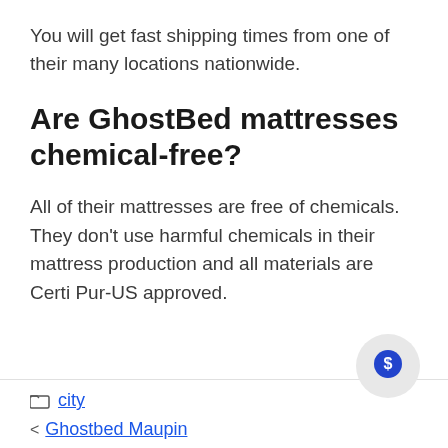You will get fast shipping times from one of their many locations nationwide.
Are GhostBed mattresses chemical-free?
All of their mattresses are free of chemicals. They don't use harmful chemicals in their mattress production and all materials are Certi Pur-US approved.
city | Ghostbed Maupin